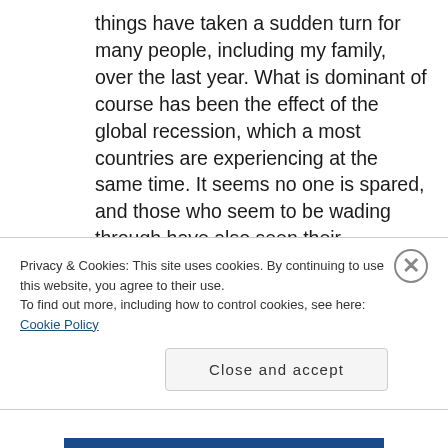things have taken a sudden turn for many people, including my family, over the last year. What is dominant of course has been the effect of the global recession, which a most countries are experiencing at the same time. It seems no one is spared, and those who seem to be wading through have also seen their purchasing power spiral down dramatically. But most affected are those who have lost their jobs in a market that seems to grow uncertain
Privacy & Cookies: This site uses cookies. By continuing to use this website, you agree to their use. To find out more, including how to control cookies, see here: Cookie Policy
Close and accept